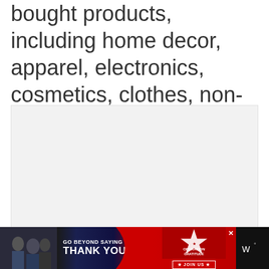bought products, including home decor, apparel, electronics, cosmetics, clothes, non-perishable groceries, and more at the Guest Services counter.
[Figure (photo): A light gray image placeholder area with three small gray dots at the bottom center, indicating an image carousel or slideshow.]
[Figure (infographic): Advertisement banner: 'GO BEYOND SAYING THANK YOU' - Operation Gratitude JOIN US banner with dark background, red accents, and a star logo. Shows people in the left photo area. Right side shows a small logo/icon.]